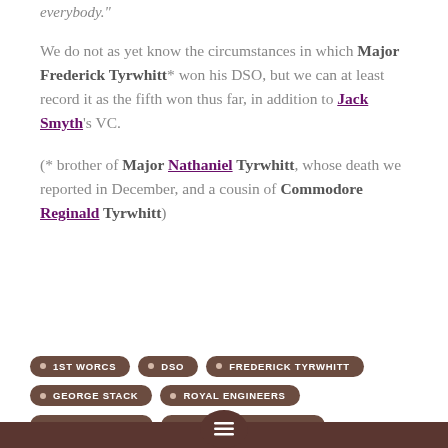everybody."
We do not as yet know the circumstances in which Major Frederick Tyrwhitt* won his DSO, but we can at least record it as the fifth won thus far, in addition to Jack Smyth's VC.
(* brother of Major Nathaniel Tyrwhitt, whose death we reported in December, and a cousin of Commodore Reginald Tyrwhitt)
1ST WORCS
DSO
FREDERICK TYRWHITT
GEORGE STACK
ROYAL ENGINEERS
TRINITY DUBLIN
WESTMINSTER SCHOOL
menu